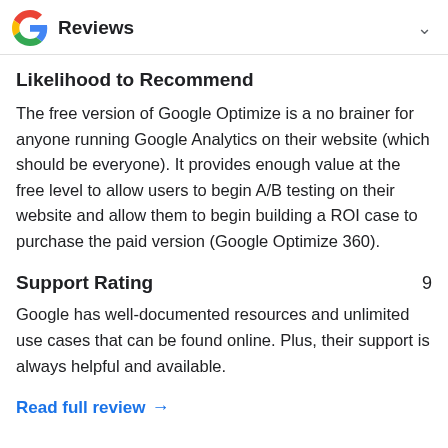Reviews
Likelihood to Recommend
The free version of Google Optimize is a no brainer for anyone running Google Analytics on their website (which should be everyone). It provides enough value at the free level to allow users to begin A/B testing on their website and allow them to begin building a ROI case to purchase the paid version (Google Optimize 360).
Support Rating 9
Google has well-documented resources and unlimited use cases that can be found online. Plus, their support is always helpful and available.
Read full review →